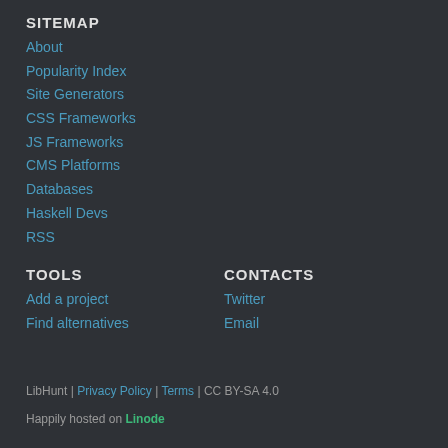SITEMAP
About
Popularity Index
Site Generators
CSS Frameworks
JS Frameworks
CMS Platforms
Databases
Haskell Devs
RSS
TOOLS
Add a project
Find alternatives
CONTACTS
Twitter
Email
LibHunt | Privacy Policy | Terms | CC BY-SA 4.0
Happily hosted on Linode